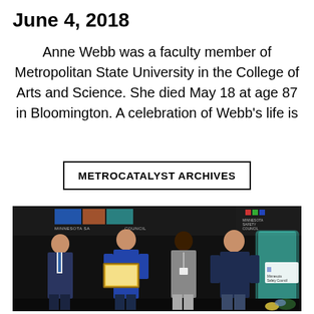June 4, 2018
Anne Webb was a faculty member of Metropolitan State University in the College of Arts and Science. She died May 18 at age 87 in Bloomington. A celebration of Webb’s life is
METROCATALYST ARCHIVES
[Figure (photo): Four people standing on a stage in front of Minnesota Safety Council banners. One person holds a framed certificate/award. A glowing teal display element is visible on the right side of the stage.]